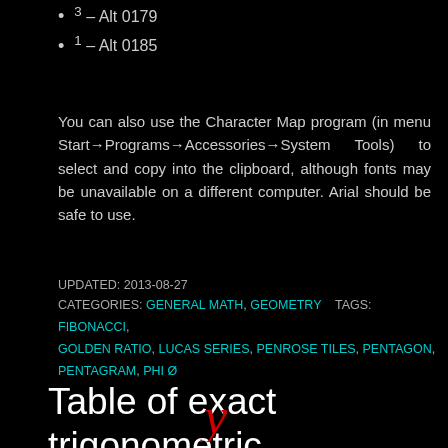³ – Alt 0179
¹ – Alt 0185
You can also use the Character Map program (in menu Start→Programs→Accessories→System Tools) to select and copy into the clipboard, although fonts may be unavailable on a different computer. Arial should be safe to use.
UPDATED: 2013-08-27
CATEGORIES: GENERAL MATH, GEOMETRY    TAGS: FIBONACCI, GOLDEN RATIO, LUCAS SERIES, PENROSE TILES, PENTAGON, PENTAGRAM, PHI Ø
Table of exact trigonometric functions
© 2011-10-19  👤 STEVE SPIVEY  💬 LEAVE A COMMENT
[Figure (logo): Red italic letter 'y' logo at bottom center]